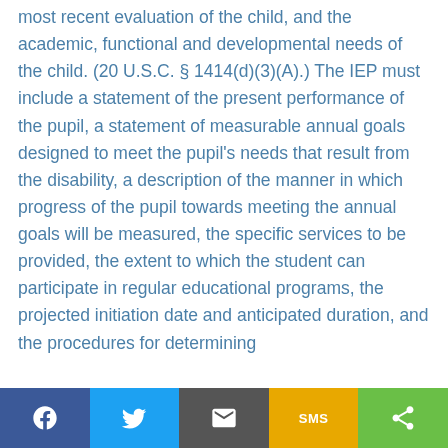most recent evaluation of the child, and the academic, functional and developmental needs of the child. (20 U.S.C. § 1414(d)(3)(A).) The IEP must include a statement of the present performance of the pupil, a statement of measurable annual goals designed to meet the pupil's needs that result from the disability, a description of the manner in which progress of the pupil towards meeting the annual goals will be measured, the specific services to be provided, the extent to which the student can participate in regular educational programs, the projected initiation date and anticipated duration, and the procedures for determining